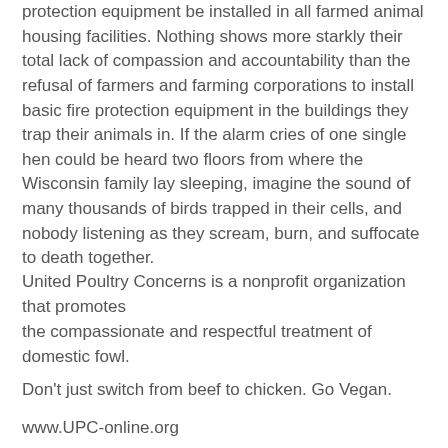protection equipment be installed in all farmed animal housing facilities. Nothing shows more starkly their total lack of compassion and accountability than the refusal of farmers and farming corporations to install basic fire protection equipment in the buildings they trap their animals in. If the alarm cries of one single hen could be heard two floors from where the Wisconsin family lay sleeping, imagine the sound of many thousands of birds trapped in their cells, and nobody listening as they scream, burn, and suffocate to death together.
United Poultry Concerns is a nonprofit organization that promotes
the compassionate and respectful treatment of domestic fowl.
Don't just switch from beef to chicken. Go Vegan.
www.UPC-online.org